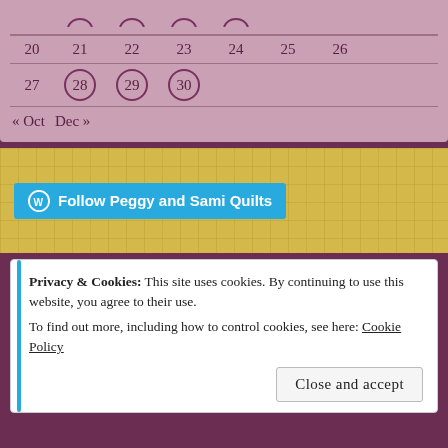| 20 | 21 | 22 | 23 | 24 | 25 | 26 |
| 27 | 28 | 29 | 30 |  |  |  |
« Oct  Dec »
[Figure (other): WordPress Follow button: Follow Peggy and Sami Quilts on a yellow grid background]
Privacy & Cookies: This site uses cookies. By continuing to use this website, you agree to their use.
To find out more, including how to control cookies, see here: Cookie Policy
Close and accept